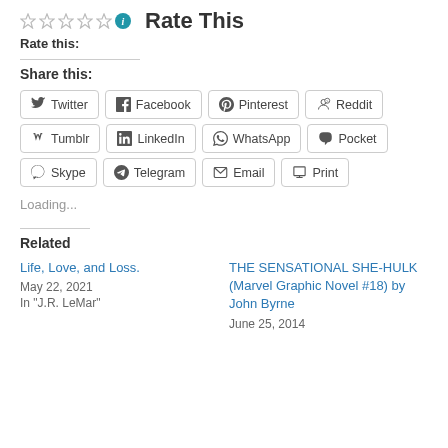Rate This
Rate this:
Share this:
Twitter
Facebook
Pinterest
Reddit
Tumblr
LinkedIn
WhatsApp
Pocket
Skype
Telegram
Email
Print
Loading...
Related
Life, Love, and Loss.
May 22, 2021
In "J.R. LeMar"
THE SENSATIONAL SHE-HULK (Marvel Graphic Novel #18) by John Byrne
June 25, 2014